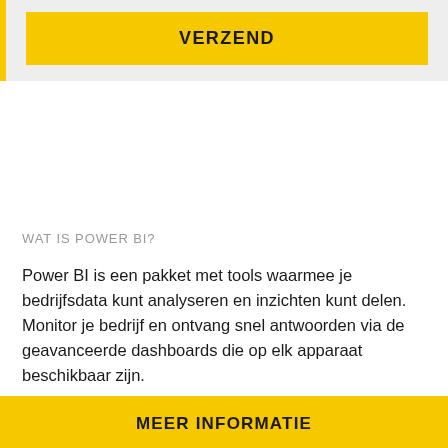[Figure (other): Yellow VERZEND button on a light gray background with a yellow left border bar]
WAT IS POWER BI?
Power BI is een pakket met tools waarmee je bedrijfsdata kunt analyseren en inzichten kunt delen. Monitor je bedrijf en ontvang snel antwoorden via de geavanceerde dashboards die op elk apparaat beschikbaar zijn.
[Figure (other): Yellow MEER INFORMATIE button bar at the bottom of the page]